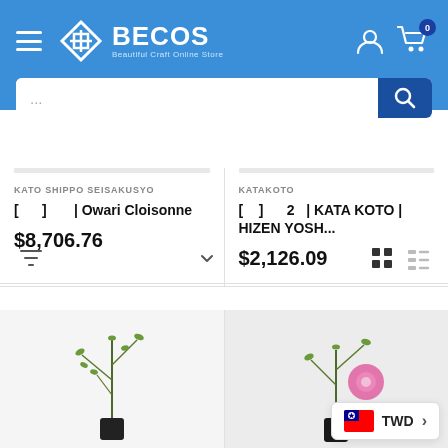[Figure (screenshot): BECOS online store header with logo, hamburger menu, user icon, cart icon with badge showing 0, and search bar]
[Figure (screenshot): Filter/sort toolbar with funnel icon, dropdown chevron, grid view and list view toggle icons]
KATO SHIPPO SEISAKUSYO
[ ] | Owari Cloisonne
$8,706.76
KATAKOTO
[ ] 2 | KATA KOTO | HIZEN YOSH...
$2,126.09
[Figure (photo): Plant/ikebana in a dark vase on white background]
[Figure (photo): Ikebana arrangement with pink flower and green branches in a dark vase on light background]
TWD